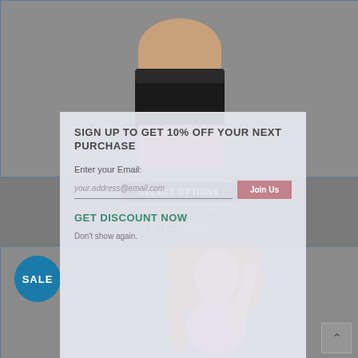[Figure (photo): Top portion of product page showing black shapewear shorts on a model from waist down, grey background]
SELECT OPTIONS
Abella Shaping Skirt Bodysuit W/Bra
$ 70.00 $95.00
[Figure (screenshot): Email signup modal popup overlay with fields: SIGN UP TO GET 10% OFF YOUR NEXT PURCHASE, Enter your Email field, your.address@email.com placeholder, Join Us button, GET DISCOUNT NOW link, Don't show again link]
SIGN UP TO GET 10% OFF YOUR NEXT PURCHASE
Enter your Email:
your.address@email.com
Join Us
GET DISCOUNT NOW
Don't show again.
[Figure (photo): Bottom product card showing blonde female model in beige bodysuit, with teal SALE badge circle on left side]
SALE